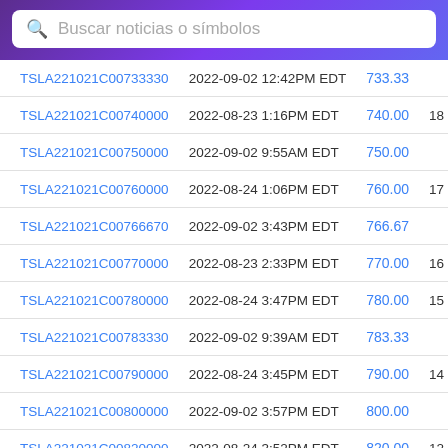Buscar noticias o símbolos
| Symbol | Date/Time | Price | Extra |
| --- | --- | --- | --- |
| TSLA221021C00733330 | 2022-09-02 12:42PM EDT | 733.33 |  |
| TSLA221021C00740000 | 2022-08-23 1:16PM EDT | 740.00 | 18 |
| TSLA221021C00750000 | 2022-09-02 9:55AM EDT | 750.00 |  |
| TSLA221021C00760000 | 2022-08-24 1:06PM EDT | 760.00 | 17 |
| TSLA221021C00766670 | 2022-09-02 3:43PM EDT | 766.67 |  |
| TSLA221021C00770000 | 2022-08-23 2:33PM EDT | 770.00 | 16 |
| TSLA221021C00780000 | 2022-08-24 3:47PM EDT | 780.00 | 15 |
| TSLA221021C00783330 | 2022-09-02 9:39AM EDT | 783.33 |  |
| TSLA221021C00790000 | 2022-08-24 3:45PM EDT | 790.00 | 14 |
| TSLA221021C00800000 | 2022-09-02 3:57PM EDT | 800.00 |  |
| TSLA221021C00820000 | 2022-08-24 3:52PM EDT | 820.00 | 12 |
| TSLA221021C00830000 | 2022-08-24 1:01PM EDT | 830.00 | 12 |
| TSLA221021C00835000 | 2022-08-24 1:07PM EDT | 835.00 |  |